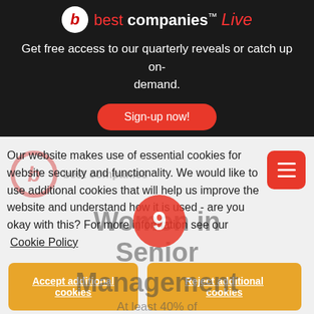[Figure (logo): Best Companies Live logo with red icon and stylized text on dark background]
Get free access to our quarterly reveals or catch up on-demand.
Sign-up now!
[Figure (logo): Best Companies watermark logo overlay on grey background]
Our website makes use of essential cookies for website security and functionality. We would like to use additional cookies that will help us improve the website and understand how it is used - are you okay with this? For more information see our Cookie Policy
Accept additional cookies
Reject additional cookies
Women in Senior Management
At least 40% of